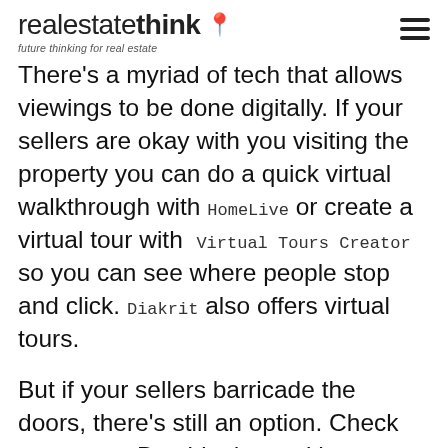realestatethink — future thinking for real estate
There's a myriad of tech that allows viewings to be done digitally. If your sellers are okay with you visiting the property you can do a quick virtual walkthrough with HomeLive or create a virtual tour with Virtual Tours Creator so you can see where people stop and click. Diakrit also offers virtual tours.
But if your sellers barricade the doors, there's still an option. Check out RealAR. Provide them with a floorplan and your portal listing photos and they will build an